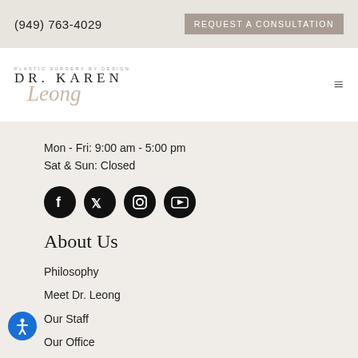(949) 763-4029
REQUEST A CONSULTATION
[Figure (logo): Dr. Karen Leong plastic surgery logo with script font]
Mon - Fri: 9:00 am - 5:00 pm
Sat & Sun: Closed
[Figure (illustration): Row of social media icons: Facebook, Twitter, Instagram, YouTube]
About Us
Philosophy
Meet Dr. Leong
Our Staff
Our Office
Services